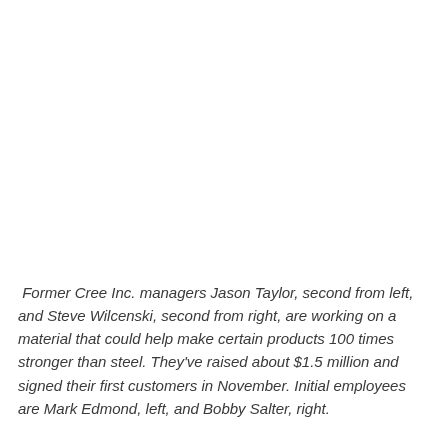Former Cree Inc. managers Jason Taylor, second from left, and Steve Wilcenski, second from right, are working on a material that could help make certain products 100 times stronger than steel. They've raised about $1.5 million and signed their first customers in November. Initial employees are Mark Edmond, left, and Bobby Salter, right.